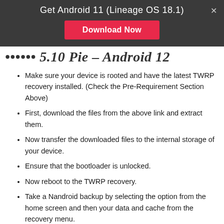Get Android 11 (Lineage OS 18.1)
Download Now
...ually 5.10 Pie – Android 12
Make sure your device is rooted and have the latest TWRP recovery installed. (Check the Pre-Requirement Section Above)
First, download the files from the above link and extract them.
Now transfer the downloaded files to the internal storage of your device.
Ensure that the bootloader is unlocked.
Now reboot to the TWRP recovery.
Take a Nandroid backup by selecting the option from the home screen and then your data and cache from the recovery menu.